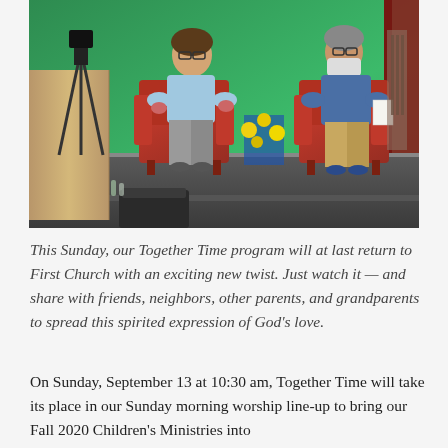[Figure (photo): Two people sitting in red armchairs on a stage with a large green screen backdrop. The person on the left is a woman in a light blue top and gray pants. The person on the right is a man wearing a mask and blue shirt with khaki pants. A tripod/camera stand is visible on the left side. A dark red curtain is visible on the far right.]
This Sunday, our Together Time program will at last return to First Church with an exciting new twist. Just watch it — and share with friends, neighbors, other parents, and grandparents to spread this spirited expression of God's love.
On Sunday, September 13 at 10:30 am, Together Time will take its place in our Sunday morning worship line-up to bring our Fall 2020 Children's Ministries into...